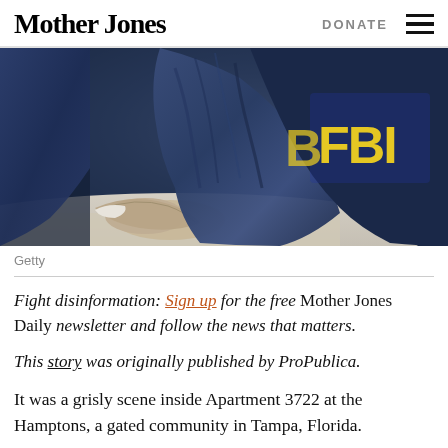Mother Jones | DONATE
[Figure (photo): Close-up photo of a person wearing a blue FBI jacket/vest with yellow FBI letters visible on the back, hands clasped on a table]
Getty
Fight disinformation: Sign up for the free Mother Jones Daily newsletter and follow the news that matters.
This story was originally published by ProPublica.
It was a grisly scene inside Apartment 3722 at the Hamptons, a gated community in Tampa, Florida.